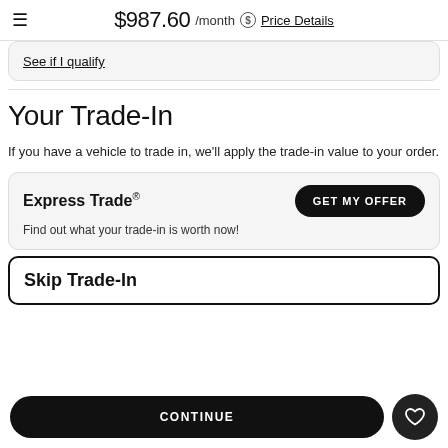$987.60 /month Price Details
See if I qualify
Your Trade-In
If you have a vehicle to trade in, we’ll apply the trade-in value to your order.
Express Trade®
Find out what your trade-in is worth now!
GET MY OFFER
Skip Trade-In
CONTINUE